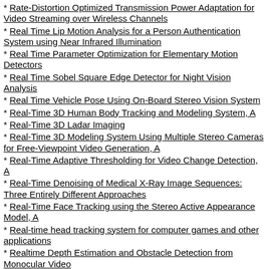Rate-Distortion Optimized Transmission Power Adaptation for Video Streaming over Wireless Channels
Real Time Lip Motion Analysis for a Person Authentication System using Near Infrared Illumination
Real Time Parameter Optimization for Elementary Motion Detectors
Real Time Sobel Square Edge Detector for Night Vision Analysis
Real Time Vehicle Pose Using On-Board Stereo Vision System
Real-Time 3D Human Body Tracking and Modeling System, A
Real-Time 3D Ladar Imaging
Real-Time 3D Modeling System Using Multiple Stereo Cameras for Free-Viewpoint Video Generation, A
Real-Time Adaptive Thresholding for Video Change Detection, A
Real-Time Denoising of Medical X-Ray Image Sequences: Three Entirely Different Approaches
Real-Time Face Tracking using the Stereo Active Appearance Model, A
Real-time head tracking system for computer games and other applications
Realtime Depth Estimation and Obstacle Detection from Monocular Video